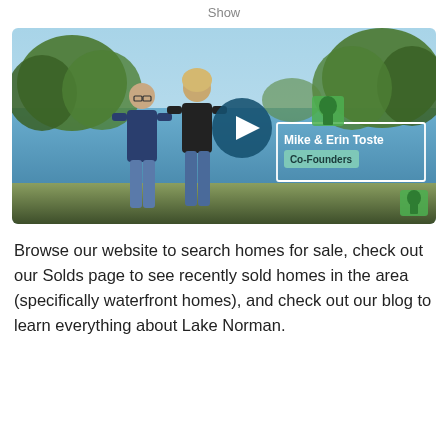Show
[Figure (photo): Video thumbnail showing Mike and Erin Toste, Co-Founders, standing outdoors by Lake Norman with trees and water in background. A teal play button is overlaid in the center. A name card overlay reads 'Mike & Erin Toste' and 'Co-Founders'. A green house logo appears in upper-right and lower-right corners.]
Browse our website to search homes for sale, check out our Solds page to see recently sold homes in the area (specifically waterfront homes), and check out our blog to learn everything about Lake Norman.